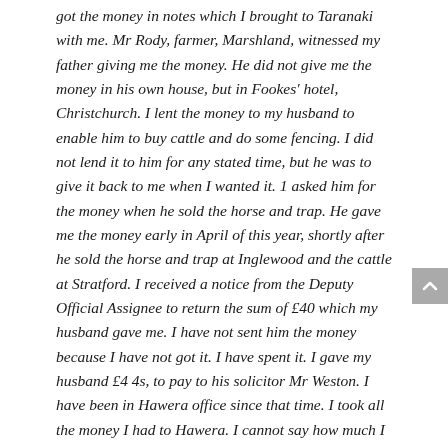got the money in notes which I brought to Taranaki with me. Mr Rody, farmer, Marshland, witnessed my father giving me the money. He did not give me the money in his own house, but in Fookes' hotel, Christchurch. I lent the money to my husband to enable him to buy cattle and do some fencing. I did not lend it to him for any stated time, but he was to give it back to me when I wanted it. 1 asked him for the money when he sold the horse and trap. He gave me the money early in April of this year, shortly after he sold the horse and trap at Inglewood and the cattle at Stratford. I received a notice from the Deputy Official Assignee to return the sum of £40 which my husband gave me. I have not sent him the money because I have not got it. I have spent it. I gave my husband £4 4s, to pay to his solicitor Mr Weston. I have been in Hawera office since that time. I took all the money I had to Hawera. I cannot say how much I spent in Hawera, it was about £5. I cannot say in whose shops I spent the money. I have two children and these things were bought for them and myself. I bought one black